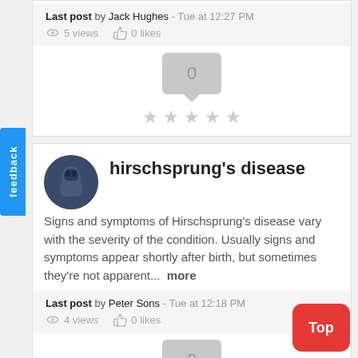Last post by Jack Hughes - Tue at 12:27 PM  5 views  0 likes
0
hirschsprung's disease
Signs and symptoms of Hirschsprung's disease vary with the severity of the condition. Usually signs and symptoms appear shortly after birth, but sometimes they're not apparent...  more
Last post by Peter Sons - Tue at 12:18 PM  4 views  0 likes
0